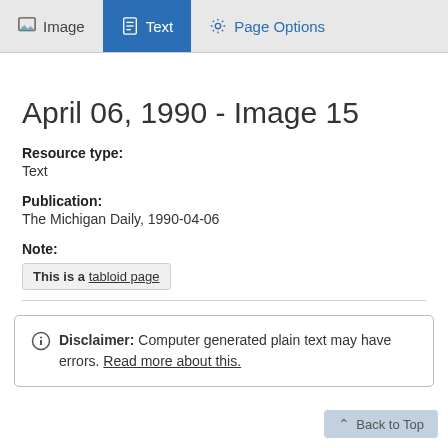Image  Text  Page Options
April 06, 1990 - Image 15
Resource type:
Text
Publication:
The Michigan Daily, 1990-04-06
Note:
This is a tabloid page
Disclaimer: Computer generated plain text may have errors. Read more about this.